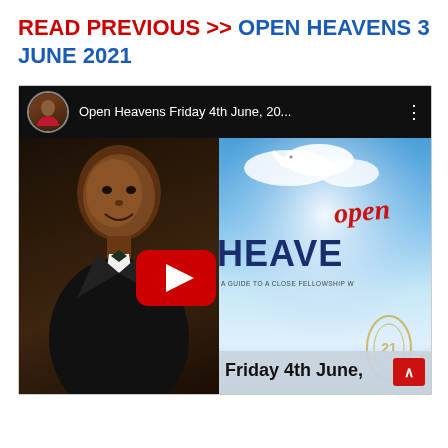READ PREVIOUS >> OPEN HEAVENS 3 JUNE 2021
[Figure (screenshot): YouTube video thumbnail for 'Open Heavens Friday 4th June, 20...' showing a man in a suit and bow tie on the left panel, and an Open Heavens devotional book cover on the right with a dove, blue sky, and text 'Friday 4th June,' with a YouTube play button overlay.]